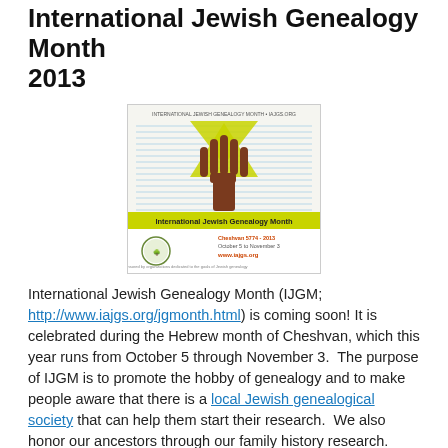International Jewish Genealogy Month 2013
[Figure (illustration): Poster for International Jewish Genealogy Month featuring a hand forming a tree shape with a yellow Star of David, and text 'International Jewish Genealogy Month', Cheshvan 5774-2013, October 5 to November 3, www.iajgs.org]
International Jewish Genealogy Month (IJGM; http://www.iajgs.org/jgmonth.html) is coming soon! It is celebrated during the Hebrew month of Cheshvan, which this year runs from October 5 through November 3.  The purpose of IJGM is to promote the hobby of genealogy and to make people aware that there is a local Jewish genealogical society that can help them start their research.  We also honor our ancestors through our family history research.